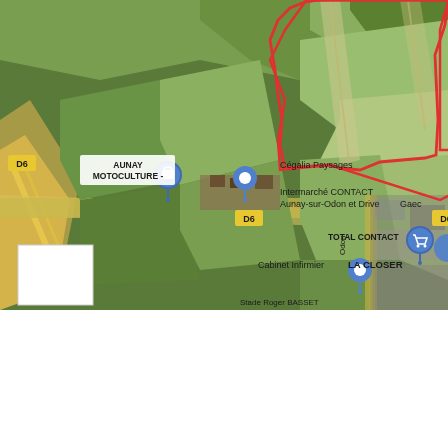[Figure (map): Aerial/satellite Google Maps view of Aunay-sur-Odon area in France, showing agricultural fields, the D6 road, and local businesses including Aunay Motoculture, Cégalia Paysages, Intermarché CONTACT Aunay-sur-Odon et Drive, Total Contact, Cabinet Infirmier, LA CLOSER, and Gaec. A red boundary line outlines a zone in the upper-center portion of the map. Map pins and labels are visible. A small white rectangle appears in the lower-left of the map area.]